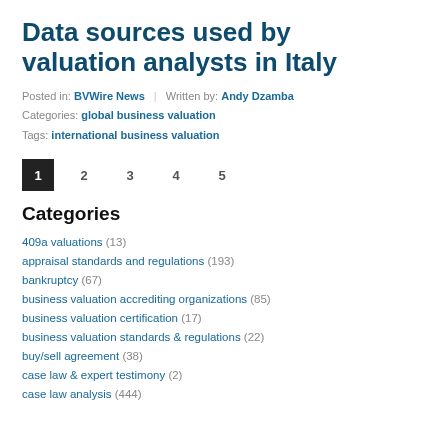Data sources used by valuation analysts in Italy
Posted in: BVWire News | Written by: Andy Dzamba
Categories: global business valuation
Tags: international business valuation
1 2 3 4 5
Categories
409a valuations (13)
appraisal standards and regulations (193)
bankruptcy (67)
business valuation accrediting organizations (85)
business valuation certification (17)
business valuation standards & regulations (22)
buy/sell agreement (38)
case law & expert testimony (2)
case law analysis (444)